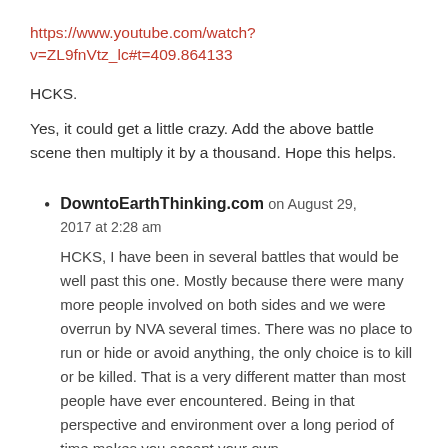https://www.youtube.com/watch?v=ZL9fnVtz_lc#t=409.864133
HCKS.
Yes, it could get a little crazy. Add the above battle scene then multiply it by a thousand. Hope this helps.
DowntoEarthThinking.com on August 29, 2017 at 2:28 am

HCKS, I have been in several battles that would be well past this one. Mostly because there were many more people involved on both sides and we were overrun by NVA several times. There was no place to run or hide or avoid anything, the only choice is to kill or be killed. That is a very different matter than most people have ever encountered. Being in that perspective and environment over a long period of time makes you accept your own